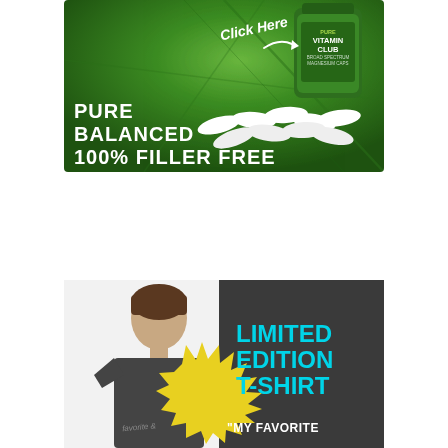[Figure (illustration): Advertisement for Pure Vitamin Club Broad Spectrum Magnesium Caps. Green background with leaf texture, white capsule pills scattered, supplement bottle visible top right. Text reads: Click Here (with arrow), PURE BALANCED 100% FILLER FREE]
[Figure (illustration): Advertisement for a Limited Edition T-Shirt. Left side shows a young man wearing a dark t-shirt. Right side has dark gray background with yellow starburst graphic and cyan text: LIMITED EDITION T-SHIRT. Below in white: "MY FAVORITE]